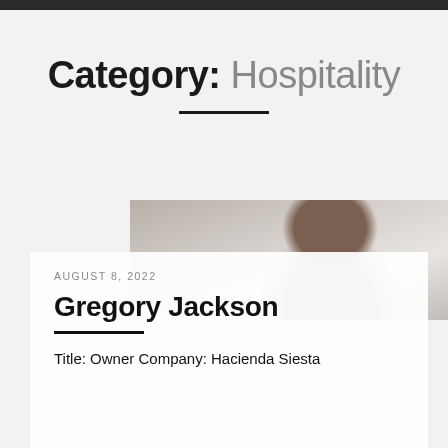Category: Hospitality
[Figure (photo): Blurred photo of a person in formal attire, likely a hospitality professional]
AUGUST 8, 2022
Gregory Jackson
Title: Owner Company: Hacienda Siesta